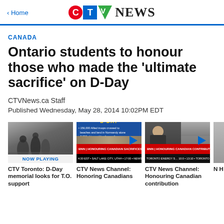CTV News — Home
CANADA
Ontario students to honour those who made the 'ultimate sacrifice' on D-Day
CTVNews.ca Staff
Published Wednesday, May 28, 2014 10:02PM EDT
[Figure (screenshot): Thumbnail 1: Black and white photo of soldiers, labeled NOW PLAYING]
CTV Toronto: D-Day memorial looks for T.O. support
[Figure (screenshot): Thumbnail 2: CTV News Channel D-Day graphic with bullet points]
CTV News Channel: Honoring Canadians
[Figure (screenshot): Thumbnail 3: CTV News Channel anchor with play button]
CTV News Channel: Honouring Canadian contribution
[Figure (screenshot): Thumbnail 4: Partially visible fourth video thumbnail]